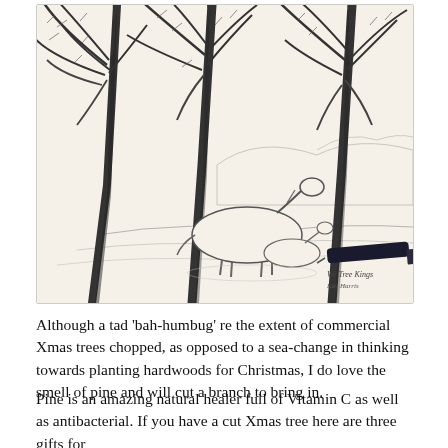[Figure (illustration): Pencil sketch illustration of palm trees with horses resting beneath them in a desert landscape, with a pen visible in the lower right corner. Signed 'We Tree Kings' with an artist signature.]
Although a tad 'bah-humbug' re the extent of commercial Xmas trees chopped, as opposed to a sea-change in thinking towards planting hardwoods for Christmas, I do love the smell of pine and will cut a branch to bring in.
Pine is an amazing natural healer full of Vitamin C as well as antibacterial. If you have a cut Xmas tree here are three gifts for...